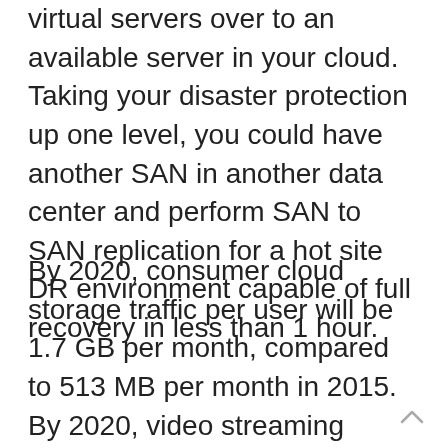virtual servers over to an available server in your cloud. Taking your disaster protection up one level, you could have another SAN in another data center and perform SAN to SAN replication for a hot site DR environment capable of full recovery in less than 1 hour.
By 2020, consumer cloud storage traffic per user will be 1.7 GB per month, compared to 513 MB per month in 2015. By 2020, video streaming workloads will account for 34% of total consumer workloads, compared to 29% in 2015. Social networking workloads will account for 24% of total consumer